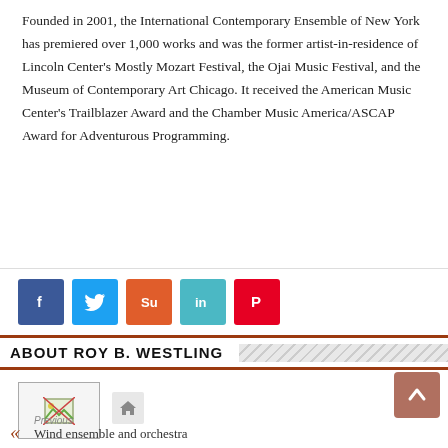Founded in 2001, the International Contemporary Ensemble of New York has premiered over 1,000 works and was the former artist-in-residence of Lincoln Center's Mostly Mozart Festival, the Ojai Music Festival, and the Museum of Contemporary Art Chicago. It received the American Music Center's Trailblazer Award and the Chamber Music America/ASCAP Award for Adventurous Programming.
[Figure (other): Social share buttons: Facebook (blue), Twitter (light blue), StumbleUpon (orange-red), LinkedIn (teal), Pinterest (red)]
ABOUT ROY B. WESTLING
[Figure (photo): Author image placeholder with broken image icon, and a home icon button]
[Figure (other): Scroll to top button with upward arrow, brown/terracotta color]
Previous
Wind ensemble and orchestra